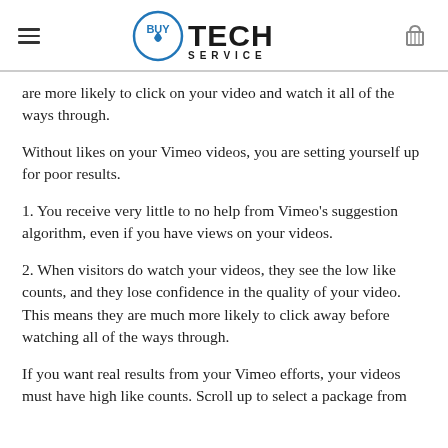BuyTechService
are more likely to click on your video and watch it all of the ways through.
Without likes on your Vimeo videos, you are setting yourself up for poor results.
1. You receive very little to no help from Vimeo’s suggestion algorithm, even if you have views on your videos.
2. When visitors do watch your videos, they see the low like counts, and they lose confidence in the quality of your video. This means they are much more likely to click away before watching all of the ways through.
If you want real results from your Vimeo efforts, your videos must have high like counts. Scroll up to select a package from